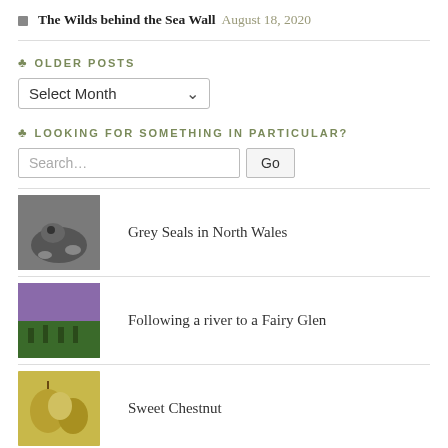The Wilds behind the Sea Wall August 18, 2020
OLDER POSTS
[Figure (other): Select Month dropdown widget]
LOOKING FOR SOMETHING IN PARTICULAR?
[Figure (other): Search input box with Go button]
Grey Seals in North Wales
Following a river to a Fairy Glen
Sweet Chestnut
Wales Coast Path-Colwyn Bay to Pensarn